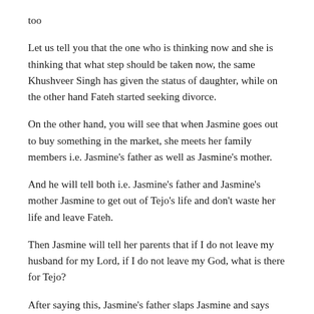too
Let us tell you that the one who is thinking now and she is thinking that what step should be taken now, the same Khushveer Singh has given the status of daughter, while on the other hand Fateh started seeking divorce.
On the other hand, you will see that when Jasmine goes out to buy something in the market, she meets her family members i.e. Jasmine's father as well as Jasmine's mother.
And he will tell both i.e. Jasmine's father and Jasmine's mother Jasmine to get out of Tejo's life and don't waste her life and leave Fateh.
Then Jasmine will tell her parents that if I do not leave my husband for my Lord, if I do not leave my God, what is there for Tejo?
After saying this, Jasmine's father slaps Jasmine and says that you can never be happy and tell a lot, on the other hand, how will